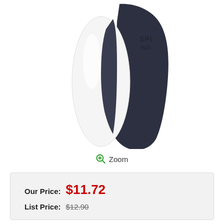[Figure (photo): Product photo of a white and dark navy/charcoal ergonomic device (appears to be a sports or swimming nose clip/goggle component) with 'SPI' and 'H2O' embossed text on the dark portion, shown on white background.]
Zoom
Our Price: $11.72
List Price: $12.90